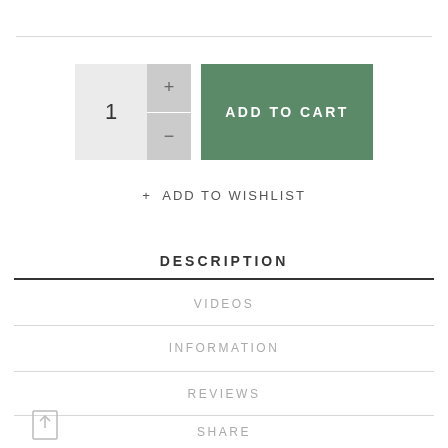[Figure (screenshot): E-commerce product page UI showing quantity selector with + and - buttons, an ADD TO CART green button, ADD TO WISHLIST link, and tabs for DESCRIPTION (active), VIDEOS, INFORMATION, REVIEWS, and SHARE with an upload icon.]
1
+
-
ADD TO CART
+ ADD TO WISHLIST
DESCRIPTION
VIDEOS
INFORMATION
REVIEWS
SHARE